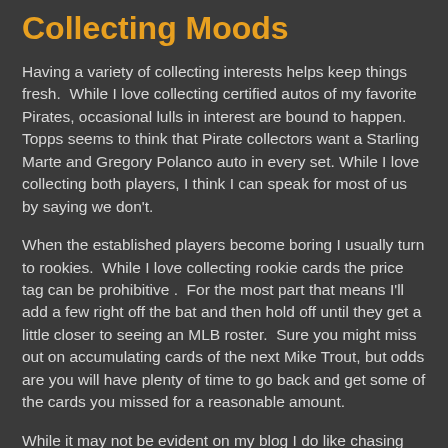Collecting Moods
Having a variety of collecting interests helps keep things fresh.  While I love collecting certified autos of my favorite Pirates, occasional lulls in interest are bound to happen.  Topps seems to think that Pirate collectors want a Starling Marte and Gregory Polanco auto in every set. While I love collecting both players, I think I can speak for most of us by saying we don't.
When the established players become boring I usually turn to rookies.  While I love collecting rookie cards the price tag can be prohibitive .  For the most part that means I'll add a few right off the bat and then hold off until they get a little closer to seeing an MLB roster.  Sure you might miss out on accumulating cards of the next Mike Trout, but odds are you will have plenty of time to go back and get some of the cards you missed for a reasonable amount.
While it may not be evident on my blog I do like chasing base cards and obscure base parallels.